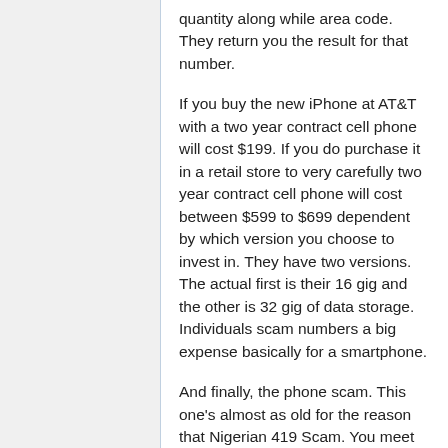quantity along while area code. They return you the result for that number.
If you buy the new iPhone at AT&T with a two year contract cell phone will cost $199. If you do purchase it in a retail store to very carefully two year contract cell phone will cost between $599 to $699 dependent by which version you choose to invest in. They have two versions. The actual first is their 16 gig and the other is 32 gig of data storage. Individuals scam numbers a big expense basically for a smartphone.
And finally, the phone scam. This one's almost as old for the reason that Nigerian 419 Scam. You meet the gal you have always wanted. Again, she's beautiful beyond belief. Magazine quality